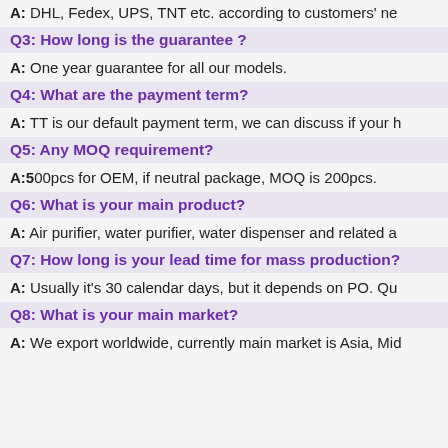A: DHL, Fedex, UPS, TNT etc. according to customers' ne
Q3: How long is the guarantee ?
A: One year guarantee for all our models.
Q4: What are the payment term?
A: TT is our default payment term, we can discuss if your h
Q5: Any MOQ requirement?
A: 500pcs for OEM, if neutral package, MOQ is 200pcs.
Q6: What is your main product?
A: Air purifier, water purifier, water dispenser and related a
Q7: How long is your lead time for mass production?
A: Usually it's 30 calendar days, but it depends on PO. Qu
Q8: What is your main market?
A: We export worldwide, currently main market is Asia, Mid